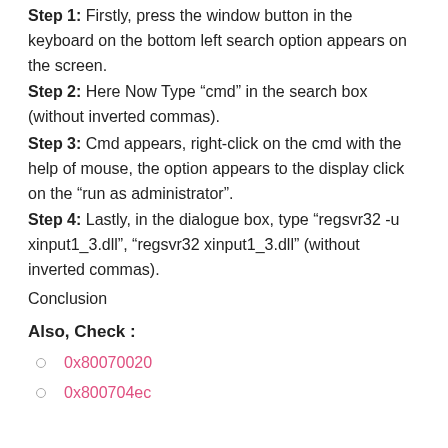Step 1: Firstly, press the window button in the keyboard on the bottom left search option appears on the screen.
Step 2: Here Now Type “cmd” in the search box (without inverted commas).
Step 3: Cmd appears, right-click on the cmd with the help of mouse, the option appears to the display click on the “run as administrator”.
Step 4: Lastly, in the dialogue box, type “regsvr32 -u xinput1_3.dll”, “regsvr32 xinput1_3.dll” (without inverted commas).
Conclusion
Also, Check :
0x80070020
0x800704ec